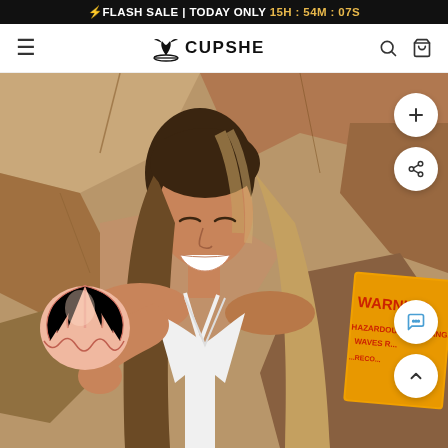⚡FLASH SALE | TODAY ONLY 15H : 54M : 07S
[Figure (logo): Cupshe brand logo with palm tree icon and brand name]
[Figure (photo): Woman at beach holding a seashell over one eye, smiling, wearing white swimsuit, standing near a WARNING hazardous and dangerous waves sign on a rocky wall]